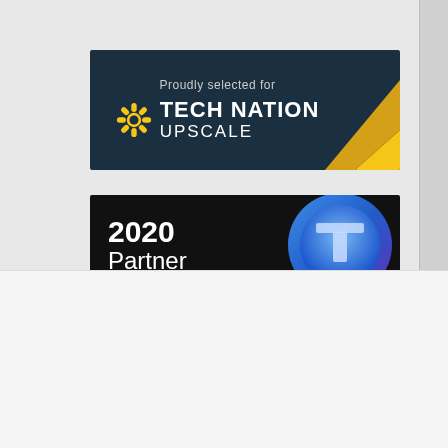[Figure (logo): Tech Nation Upscale badge — dark teal background with sunflower logo, text 'Proudly selected for TECH NATION UPSCALE' and a yellow diagonal arrow accent on the right]
[Figure (logo): 2020 Partner badge — black background with '2020 Partner' text on left and a blue circular 'T' logo on the right]
We use cookies on our website to give you the most relevant experience by remembering your preferences and repeat visits. By clicking "Accept All", you consent to the use of ALL the cookies. However, you may visit "Cookie Settings" to provide a controlled consent.
Cookie Settings
Accept All